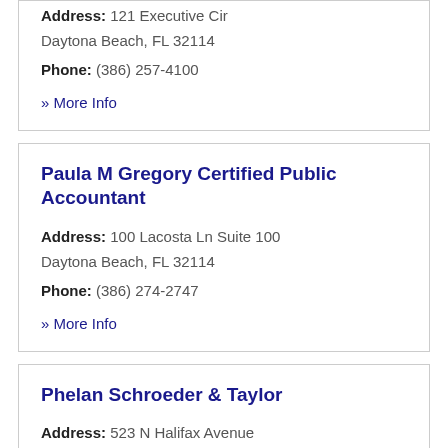Address: 121 Executive Cir Daytona Beach, FL 32114
Phone: (386) 257-4100
» More Info
Paula M Gregory Certified Public Accountant
Address: 100 Lacosta Ln Suite 100 Daytona Beach, FL 32114
Phone: (386) 274-2747
» More Info
Phelan Schroeder & Taylor
Address: 523 N Halifax Avenue